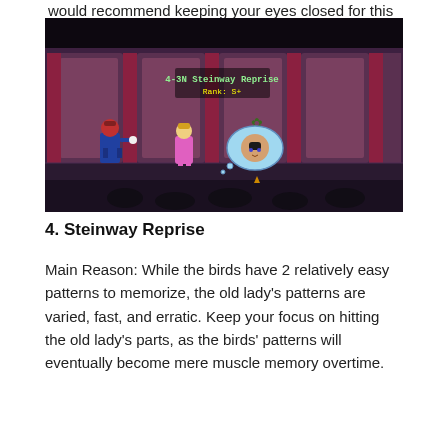would recommend keeping your eyes closed for this one.
[Figure (screenshot): A pixelated video game screenshot showing a theater stage scene. On the left is a character with a red head and blue outfit holding a white item. In the center is a pink-dressed blonde character. To the right is a circular thought bubble showing a dark-haired character's face. The background shows curtained windows on a dark stage. A text overlay in the upper center reads '4-3N Steinway Reprise / Rank: S+' in green/yellow pixel font.]
4. Steinway Reprise
Main Reason: While the birds have 2 relatively easy patterns to memorize, the old lady's patterns are varied, fast, and erratic. Keep your focus on hitting the old lady's parts, as the birds' patterns will eventually become mere muscle memory overtime.